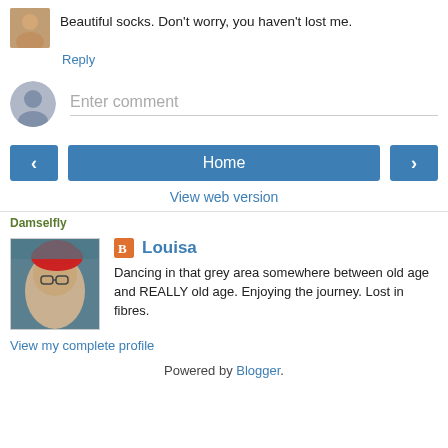Beautiful socks. Don't worry, you haven't lost me.
Reply
Enter comment
< Home >
View web version
Damselfly
Louisa
Dancing in that grey area somewhere between old age and REALLY old age. Enjoying the journey. Lost in fibres.
View my complete profile
Powered by Blogger.